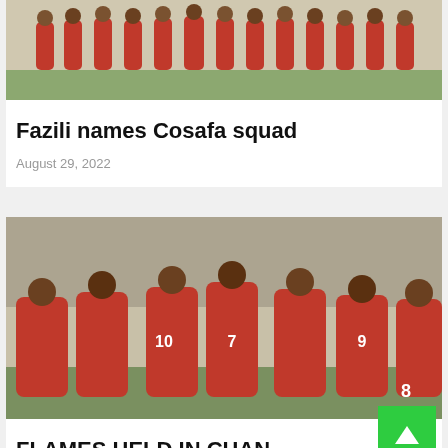[Figure (photo): Football team in red and green uniforms posed together on a field]
Fazili names Cosafa squad
August 29, 2022
[Figure (photo): Football players in red jerseys celebrating together in front of a packed stadium crowd, with jersey numbers 10, 7, 8, 9 visible]
FLAMES HELD IN CHAN